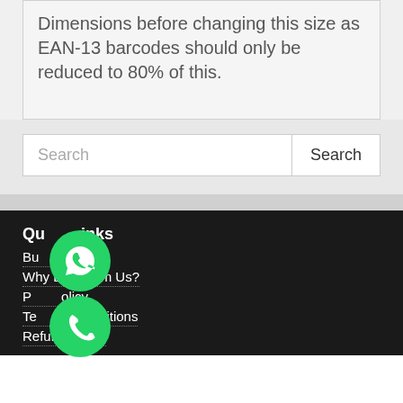Dimensions before changing this size as EAN-13 barcodes should only be reduced to 80% of this.
[Figure (other): Search bar with text input field and Search button]
Quick Links
Buy Barcodes
Why Buy From Us?
Privacy Policy
Terms and Conditions
Refund Policy
[Figure (illustration): WhatsApp green circle icon with speech bubble]
[Figure (illustration): Phone green circle icon]